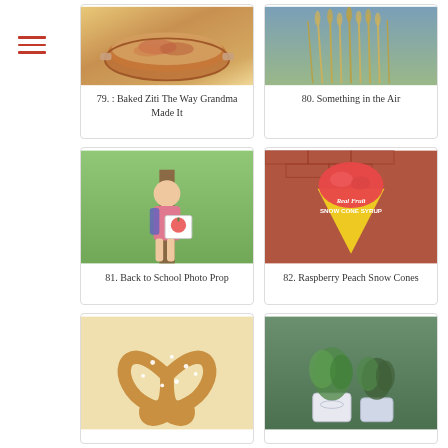[Figure (photo): Baked ziti casserole dish photo]
79. : Baked Ziti The Way Grandma Made It
[Figure (photo): Dried wheat grass stalks outdoors photo]
80. Something in the Air
[Figure (photo): Young girl with backpack and apple sign for back to school photo]
81. Back to School Photo Prop
[Figure (photo): Raspberry peach snow cone in yellow cone with Real Fruit Snow Cone Syrup overlay]
82. Raspberry Peach Snow Cones
[Figure (photo): Soft pretzel with salt on cutting board]
[Figure (photo): Potted plants in decorative pots]